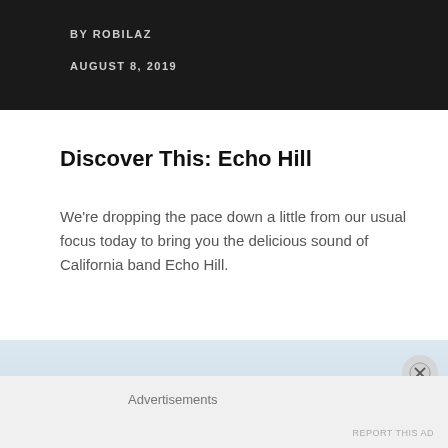BY ROBILAZ
AUGUST 8, 2019
Discover This: Echo Hill
We're dropping the pace down a little from our usual focus today to bring you the delicious sound of California band Echo Hill.
[Figure (photo): Outdoor landscape photo showing a pale sky with a yellow hillside or field slope in the lower right, and a small dark figure visible at the base of the slope.]
Advertisements
REPORT THIS AD